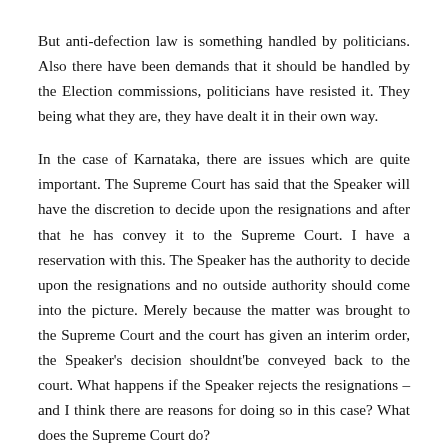But anti-defection law is something handled by politicians. Also there have been demands that it should be handled by the Election commissions, politicians have resisted it. They being what they are, they have dealt it in their own way.
In the case of Karnataka, there are issues which are quite important. The Supreme Court has said that the Speaker will have the discretion to decide upon the resignations and after that he has convey it to the Supreme Court. I have a reservation with this. The Speaker has the authority to decide upon the resignations and no outside authority should come into the picture. Merely because the matter was brought to the Supreme Court and the court has given an interim order, the Speaker's decision shouldnt'be conveyed back to the court. What happens if the Speaker rejects the resignations – and I think there are reasons for doing so in this case? What does the Supreme Court do?
To the text of the column that the resolution of such a...